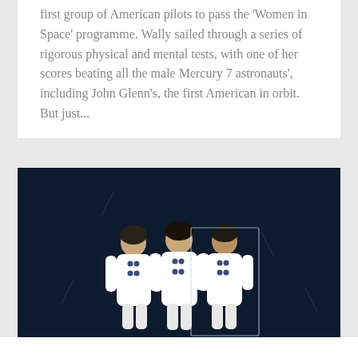first group of American pilots to pass the 'Women in Space' programme. Wally sailed through a series of rigorous physical and mental tests, with one of her scores beating all the male Mercury 7 astronauts', including John Glenn's, the first American in orbit. But just...
[Figure (illustration): Dark navy background with three illustrated figures in white astronaut suits standing side by side. The figures have tan/beige skin-toned heads and blue dot details on their suits. The rightmost figure has a rectangular outline around it suggesting a cutout or selection.]